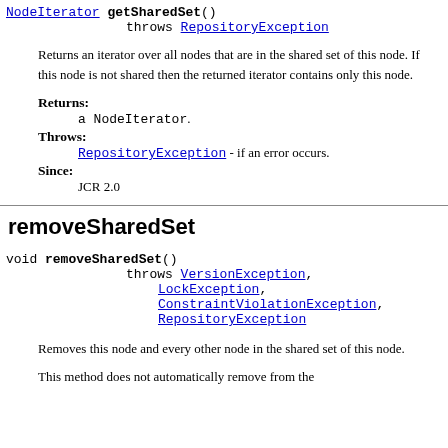NodeIterator getSharedSet() throws RepositoryException
Returns an iterator over all nodes that are in the shared set of this node. If this node is not shared then the returned iterator contains only this node.
Returns: a NodeIterator.
Throws: RepositoryException - if an error occurs.
Since: JCR 2.0
removeSharedSet
void removeSharedSet() throws VersionException, LockException, ConstraintViolationException, RepositoryException
Removes this node and every other node in the shared set of this node.
This method does not automatically remove from the